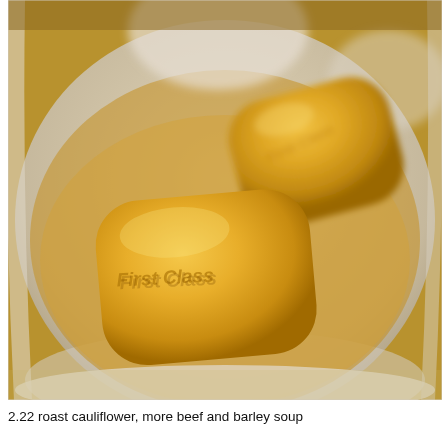[Figure (photo): Two golden-yellow rectangular soap bars embossed with 'First Class' text, sitting in a white ceramic bowl with reflective golden-toned liquid.]
2.22 roast cauliflower, more beef and barley soup